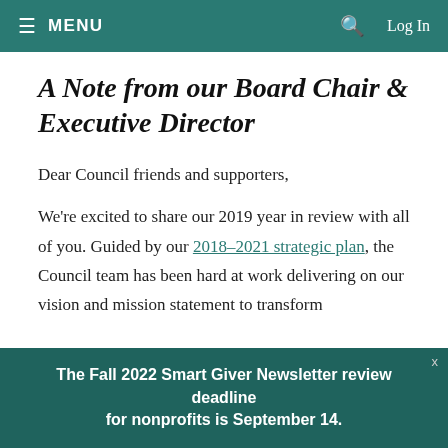≡  MENU    🔍   Log In
A Note from our Board Chair & Executive Director
Dear Council friends and supporters,
We're excited to share our 2019 year in review with all of you. Guided by our 2018–2021 strategic plan, the Council team has been hard at work delivering on our vision and mission statement to transform
The Fall 2022 Smart Giver Newsletter review deadline for nonprofits is September 14.